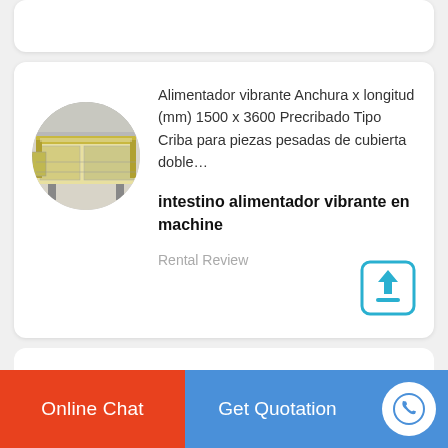[Figure (photo): Circular cropped photo of a vibrating feeder machine, yellow/cream colored industrial equipment]
Alimentador vibrante Anchura x longitud (mm) 1500 x 3600 Precribado Tipo Criba para piezas pesadas de cubierta doble…
intestino alimentador vibrante en machine
Rental Review
Online Chat   Get Quotation